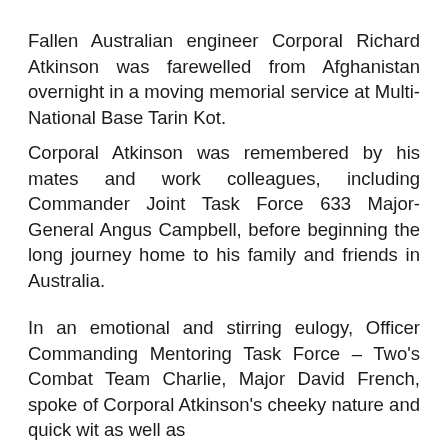Fallen Australian engineer Corporal Richard Atkinson was farewelled from Afghanistan overnight in a moving memorial service at Multi-National Base Tarin Kot.
Corporal Atkinson was remembered by his mates and work colleagues, including Commander Joint Task Force 633 Major-General Angus Campbell, before beginning the long journey home to his family and friends in Australia.
In an emotional and stirring eulogy, Officer Commanding Mentoring Task Force – Two's Combat Team Charlie, Major David French, spoke of Corporal Atkinson's cheeky nature and quick wit as well as